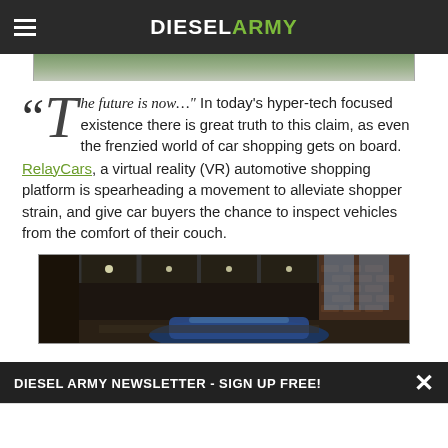DIESEL ARMY
[Figure (photo): Cropped top portion of an outdoor/vehicle image, mostly muted green and grey tones]
"The future is now…" In today's hyper-tech focused existence there is great truth to this claim, as even the frenzied world of car shopping gets on board. RelayCars, a virtual reality (VR) automotive shopping platform is spearheading a movement to alleviate shopper strain, and give car buyers the chance to inspect vehicles from the comfort of their couch.
[Figure (photo): Interior of a virtual reality automotive showroom with industrial ceiling, brick walls, large windows, and a blue vehicle partially visible]
DIESEL ARMY NEWSLETTER - SIGN UP FREE!